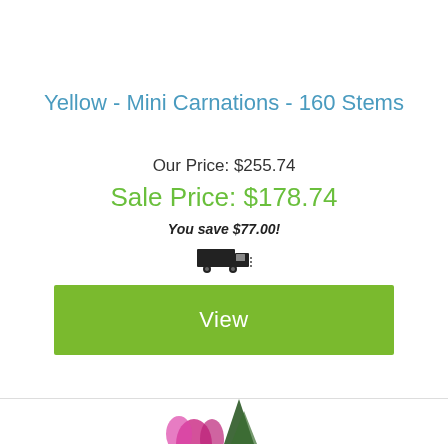Yellow - Mini Carnations - 160 Stems
Our Price: $255.74
Sale Price: $178.74
You save $77.00!
[Figure (illustration): Delivery truck icon with motion lines]
View
[Figure (illustration): Partial flower images at the bottom of the page]